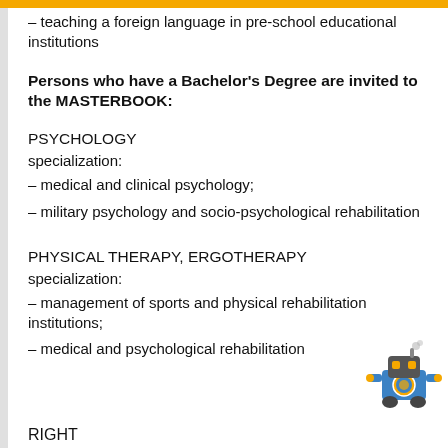– teaching a foreign language in pre-school educational institutions
Persons who have a Bachelor's Degree are invited to the MASTERBOOK:
PSYCHOLOGY
specialization:
– medical and clinical psychology;
– military psychology and socio-psychological rehabilitation
PHYSICAL THERAPY, ERGOTHERAPY
specialization:
– management of sports and physical rehabilitation institutions;
– medical and psychological rehabilitation
RIGHT